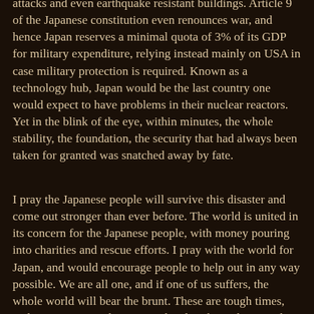attacks and even earthquake resistant buildings. Article 9 of the Japanese constitution even renounces war, and hence Japan reserves a minimal quota of 3% of its GDP for military expenditure, relying instead mainly on USA in case military protection is required. Known as a technology hub, Japan would be the last country one would expect to have problems in their nuclear reactors. Yet in the blink of the eye, within minutes, the whole stability, the foundation, the security that had always been taken for granted was snatched away by fate.
I pray the Japanese people will survive this disaster and come out stronger than ever before. The world is united in its concern for the Japanese people, with money pouring into charities and rescue efforts. I pray with the world for Japan, and would encourage people to help out in any way possible. We are all one, and if one of us suffers, the whole world will bear the brunt. These are tough times, and it is important that we pay heed to the realization that what we have always taken for granted could have been taken away from us also. If we have something, and we are in a position to help out then why not take jump at the chance. Who knows how long